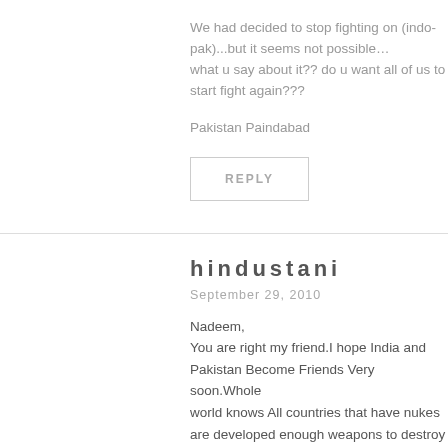We had decided to stop fighting on (indo-pak)...but it seems not possible… what u say about it?? do u want all of us to start fight again???
Pakistan Paindabad
REPLY
hindustani
September 29, 2010
Nadeem, You are right my friend.I hope India and Pakistan Become Friends Very soon.Whole world knows All countries that have nukes are developed enough weapons to destroy